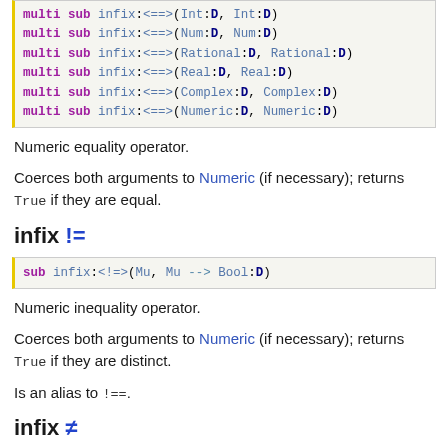[Figure (screenshot): Code block showing multi sub infix:<==>(Int:D, Int:D), multi sub infix:<==>(Num:D, Num:D), multi sub infix:<==>(Rational:D, Rational:D), multi sub infix:<==>(Real:D, Real:D), multi sub infix:<==>(Complex:D, Complex:D), multi sub infix:<==>(Numeric:D, Numeric:D)]
Numeric equality operator.
Coerces both arguments to Numeric (if necessary); returns True if they are equal.
infix !=
[Figure (screenshot): Code block showing: sub infix:<!=>( Mu, Mu --> Bool:D)]
Numeric inequality operator.
Coerces both arguments to Numeric (if necessary); returns True if they are distinct.
Is an alias to !==.
infix ≠
Numeric inequality operator.